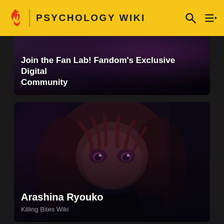PSYCHOLOGY WIKI
Join the Fan Lab! Fandom's Exclusive Digital Community
[Figure (illustration): Anime character Arashina Ryouko - close-up of a female anime character with reddish-brown hair and large purple eyes looking upward against a dark background]
Arashina Ryouko
Killing Bites Wiki
[Figure (illustration): Partially visible dark scene with snow-covered surfaces, teal/dark teal color palette, at the bottom of the page]